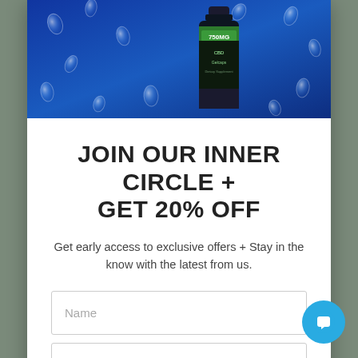[Figure (photo): CBD product bottle (750MG CBD Gelcaps by Full Moon Hemp) on blue background with gelcap drops scattered around it]
JOIN OUR INNER CIRCLE + GET 20% OFF
Get early access to exclusive offers + Stay in the know with the latest from us.
Name (input field placeholder)
Email (input field placeholder)
JOIN THE LIST (button)